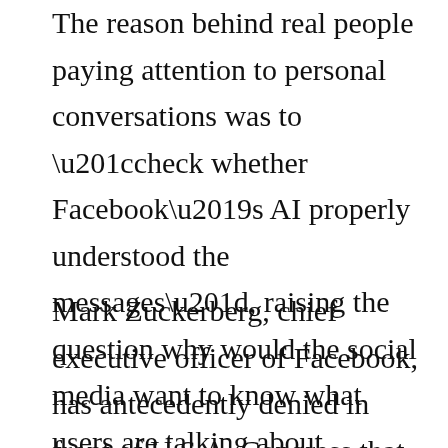The reason behind real people paying attention to personal conversations was to “check whether Facebook’s AI properly understood the messages”, raising the question why would the social media want to know what users are talking about.
Mark Zuckerberg, chief executive officer of Facebook, has antecedently denied in front of U.S.A. Congress that his company